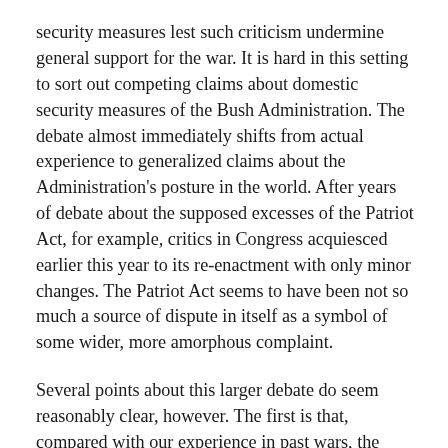security measures lest such criticism undermine general support for the war. It is hard in this setting to sort out competing claims about domestic security measures of the Bush Administration. The debate almost immediately shifts from actual experience to generalized claims about the Administration's posture in the world. After years of debate about the supposed excesses of the Patriot Act, for example, critics in Congress acquiesced earlier this year to its re-enactment with only minor changes. The Patriot Act seems to have been not so much a source of dispute in itself as a symbol of some wider, more amorphous complaint.
Several points about this larger debate do seem reasonably clear, however. The first is that, compared with our experience in past wars, the current war has been quite mild in its impact on domestic civil liberties. In World War II, the Federal government incarcerated more than 120,000 Japanese-Americans, including women, children and old people—all of them long-standing residents and most of them either citizens or immediate relatives of citizens. The next fragment continues...